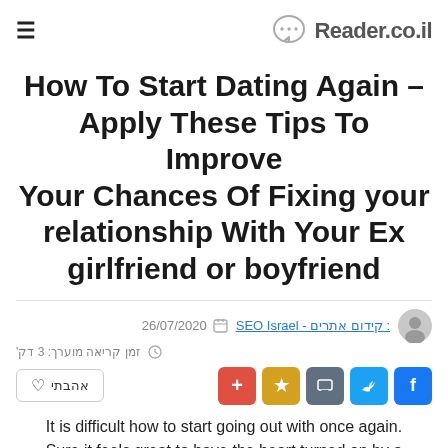Reader.co.il
How To Start Dating Again – Apply These Tips To Improve Your Chances Of Fixing your relationship With Your Ex girlfriend or boyfriend
26/07/2020  : קידום אתרים - SEO Israel
זמן קריאה מוערך: 3 דק'
אהבתי
It is difficult how to start going out with once again. Sure it feels great to have the heart turned on by a